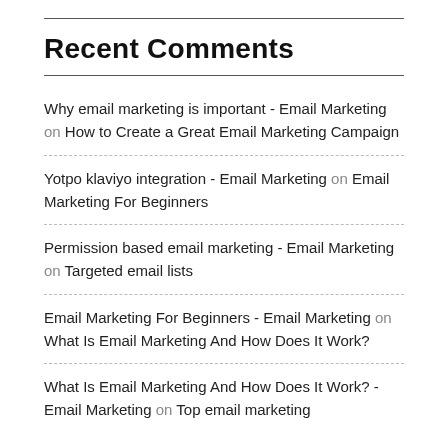Recent Comments
Why email marketing is important - Email Marketing on How to Create a Great Email Marketing Campaign
Yotpo klaviyo integration - Email Marketing on Email Marketing For Beginners
Permission based email marketing - Email Marketing on Targeted email lists
Email Marketing For Beginners - Email Marketing on What Is Email Marketing And How Does It Work?
What Is Email Marketing And How Does It Work? - Email Marketing on Top email marketing